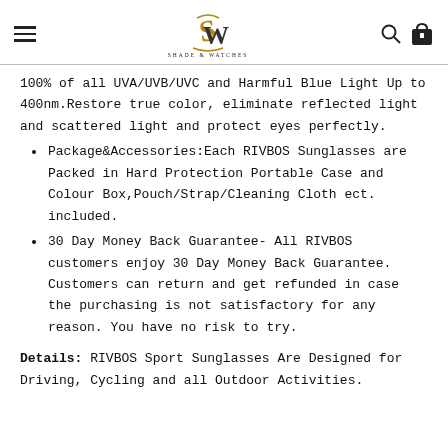Shade & Watches logo, hamburger menu, search icon, cart icon
100% of all UVA/UVB/UVC and Harmful Blue Light Up to 400nm.Restore true color, eliminate reflected light and scattered light and protect eyes perfectly.
Package&Accessories:Each RIVBOS Sunglasses are Packed in Hard Protection Portable Case and Colour Box,Pouch/Strap/Cleaning Cloth ect. included.
30 Day Money Back Guarantee- All RIVBOS customers enjoy 30 Day Money Back Guarantee. Customers can return and get refunded in case the purchasing is not satisfactory for any reason. You have no risk to try.
Details: RIVBOS Sport Sunglasses Are Designed for Driving, Cycling and all Outdoor Activities.